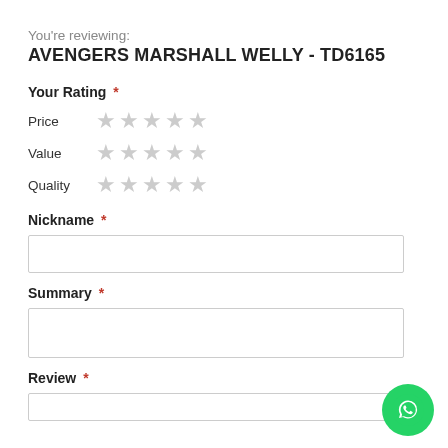You're reviewing:
AVENGERS MARSHALL WELLY - TD6165
Your Rating *
Price ★★★★★
Value ★★★★★
Quality ★★★★★
Nickname *
Summary *
Review *